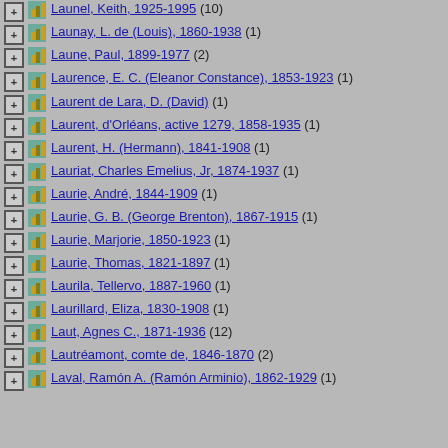Launay, L. de (Louis), 1860-1938 (1)
Laune, Paul, 1899-1977 (2)
Laurence, E. C. (Eleanor Constance), 1853-1923 (1)
Laurent de Lara, D. (David) (1)
Laurent, d'Orléans, active 1279, 1858-1935 (1)
Laurent, H. (Hermann), 1841-1908 (1)
Lauriat, Charles Emelius, Jr, 1874-1937 (1)
Laurie, André, 1844-1909 (1)
Laurie, G. B. (George Brenton), 1867-1915 (1)
Laurie, Marjorie, 1850-1923 (1)
Laurie, Thomas, 1821-1897 (1)
Laurila, Tellervo, 1887-1960 (1)
Laurillard, Eliza, 1830-1908 (1)
Laut, Agnes C., 1871-1936 (12)
Lautréamont, comte de, 1846-1870 (2)
Laval, Ramón A. (Ramón Arminio), 1862-1929 (1)